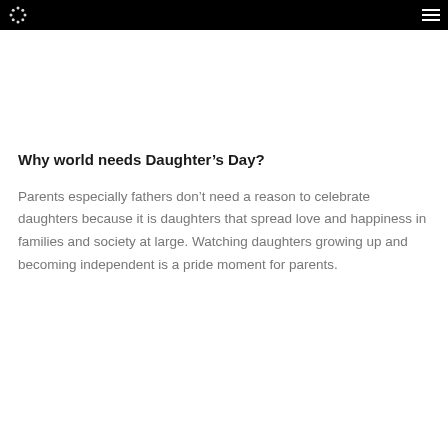[navigation bar with logo and menu icon]
Why world needs Daughter’s Day?
Parents especially fathers don’t need a reason to celebrate daughters because it is daughters that spread love and happiness in families and society at large. Watching daughters growing up and becoming independent is a pride moment for parents.